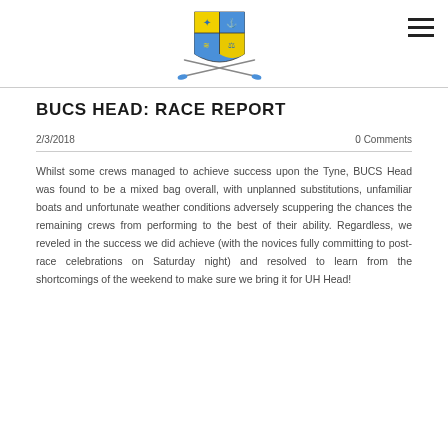[Figure (logo): University rowing club shield logo with crossed oars, featuring blue, yellow and green heraldic quarters, with two crossed oars beneath]
BUCS HEAD: RACE REPORT
2/3/2018
0 Comments
Whilst some crews managed to achieve success upon the Tyne, BUCS Head was found to be a mixed bag overall, with unplanned substitutions, unfamiliar boats and unfortunate weather conditions adversely scuppering the chances the remaining crews from performing to the best of their ability. Regardless, we reveled in the success we did achieve (with the novices fully committing to post-race celebrations on Saturday night) and resolved to learn from the shortcomings of the weekend to make sure we bring it for UH Head!